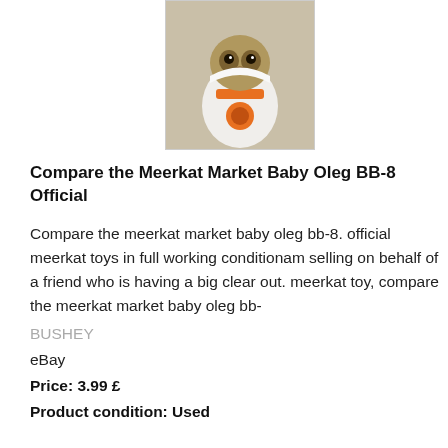[Figure (photo): A meerkat toy wearing a BB-8 costume (white and orange outfit), photographed against a beige/cream background.]
Compare the Meerkat Market Baby Oleg BB-8 Official
Compare the meerkat market baby oleg bb-8. official meerkat toys in full working conditionam selling on behalf of a friend who is having a big clear out. meerkat toy, compare the meerkat market baby oleg bb-
BUSHEY
eBay
Price: 3.99 £
Product condition: Used